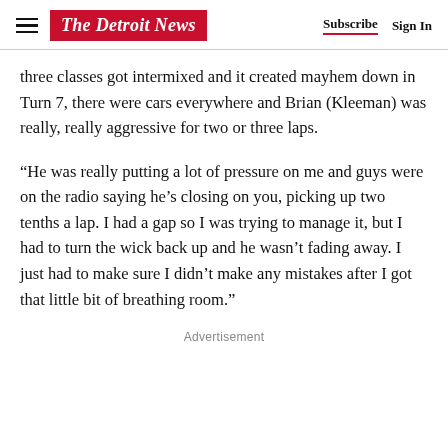The Detroit News | Subscribe  Sign In
three classes got intermixed and it created mayhem down in Turn 7, there were cars everywhere and Brian (Kleeman) was really, really aggressive for two or three laps.
“He was really putting a lot of pressure on me and guys were on the radio saying he’s closing on you, picking up two tenths a lap. I had a gap so I was trying to manage it, but I had to turn the wick back up and he wasn’t fading away. I just had to make sure I didn’t make any mistakes after I got that little bit of breathing room.”
Advertisement